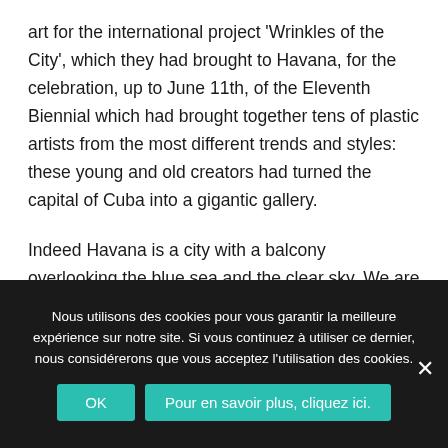art for the international project 'Wrinkles of the City', which they had brought to Havana, for the celebration, up to June 11th, of the Eleventh Biennial which had brought together tens of plastic artists from the most different trends and styles: these young and old creators had turned the capital of Cuba into a gigantic gallery.
Indeed Havana is a city with a balcony overlooking the blue sea and the clear sky. We are in the month of May, the weather is beautiful in this island which thanks all the artists participating in the different events, for the presents they made us of their works. Next year, in 2013, we will meet
Nous utilisons des cookies pour vous garantir la meilleure expérience sur notre site. Si vous continuez à utiliser ce dernier, nous considérerons que vous acceptez l'utilisation des cookies.